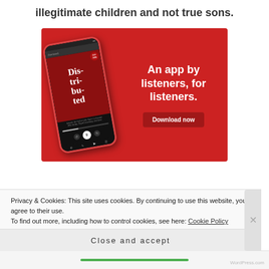illegitimate children and not true sons.
[Figure (screenshot): Advertisement for a podcast app showing a smartphone displaying a podcast called 'Distributed' on a red background, with text 'An app by listeners, for listeners.' and a 'Download now' button.]
Privacy & Cookies: This site uses cookies. By continuing to use this website, you agree to their use.
To find out more, including how to control cookies, see here: Cookie Policy
Close and accept